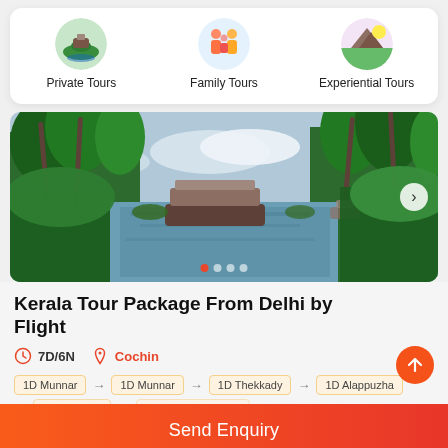[Figure (other): Tour category icons: Private Tours (circular icon with people on boat), Family Tours (circular icon with family), Experiential Tours (circular icon with landscape)]
Private Tours
Family Tours
Experiential Tours
[Figure (photo): Kerala backwaters scene: a traditional houseboat on a calm river flanked by tall palm trees and lush tropical greenery under a partly cloudy sky. Navigation arrow on right side. Carousel dots at bottom.]
Kerala Tour Package From Delhi by Flight
7D/6N
Cochin
1D Munnar → 1D Munnar → 1D Thekkady → 1D Alappuzha → 1D Kovalam → 1D Thiruvananthapuram
Send Enquiry